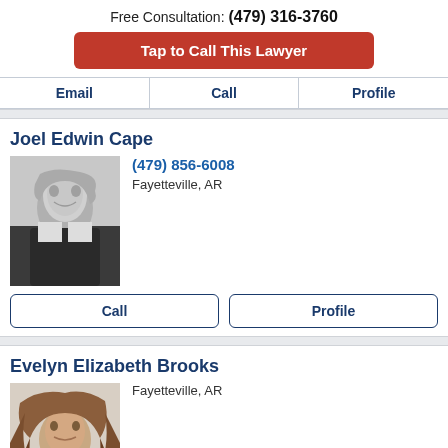Free Consultation: (479) 316-3760
Tap to Call This Lawyer
Email | Call | Profile
Joel Edwin Cape
(479) 856-6008
Fayetteville, AR
[Figure (photo): Black and white headshot of Joel Edwin Cape, a middle-aged man in a suit, smiling]
Call | Profile
Evelyn Elizabeth Brooks
Fayetteville, AR
[Figure (photo): Color photo of Evelyn Elizabeth Brooks, a woman with long brown hair]